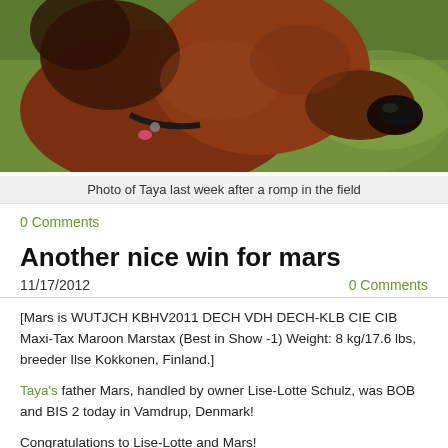[Figure (photo): Close-up photo of a dachshund dog named Taya with reddish-brown fur, wearing a collar, sniffing the ground near grass.]
Photo of Taya last week after a romp in the field
0 Comments
Another nice win for mars
11/17/2012
0 Comments
[Mars is WUTJCH KBHV2011 DECH VDH DECH-KLB CIE CIB Maxi-Tax Maroon Marstax (Best in Show -1) Weight: 8 kg/17.6 lbs, breeder Ilse Kokkonen, Finland.]
Taya's father Mars, handled by owner Lise-Lotte Schulz, was BOB and BIS 2 today in Vamdrup, Denmark!
Congratulations to Lise-Lotte and Mars!